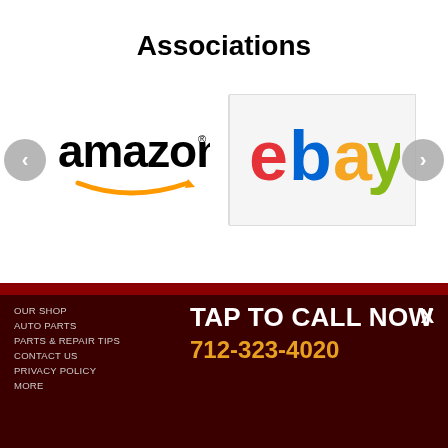Associations
[Figure (logo): Amazon logo with orange arrow smile beneath text]
[Figure (logo): eBay logo with red e, blue b, yellow a, green y on light gray background]
TAP TO CALL NOW
712-323-4020
OUR SHOP
AUTO PARTS
PARTS & REPAIR TIPS
CONTACT US
PRIVACY POLICY
MORE